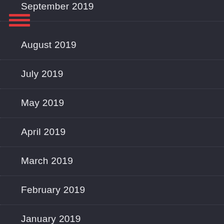September 2019
August 2019
July 2019
May 2019
April 2019
March 2019
February 2019
January 2019